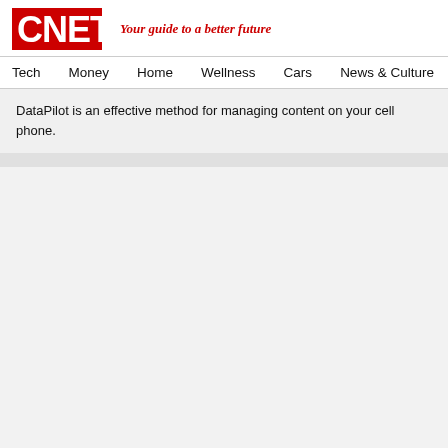CNET — Your guide to a better future
Tech   Money   Home   Wellness   Cars   News & Culture
DataPilot is an effective method for managing content on your cell phone.
[Figure (other): Large empty gray content block placeholder]